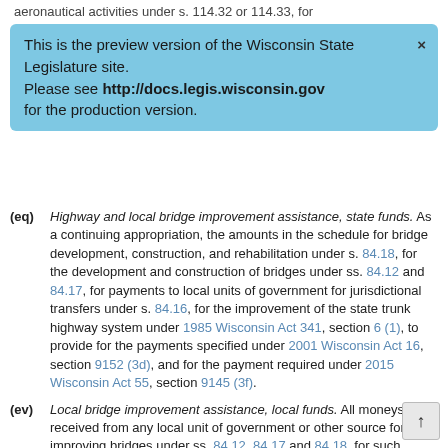aeronautical activities under s. 114.32 or 114.33, for
[Figure (screenshot): Preview banner: 'This is the preview version of the Wisconsin State Legislature site. Please see http://docs.legis.wisconsin.gov for the production version.']
(eq) Highway and local bridge improvement assistance, state funds. As a continuing appropriation, the amounts in the schedule for bridge development, construction, and rehabilitation under s. 84.18, for the development and construction of bridges under ss. 84.12 and 84.17, for payments to local units of government for jurisdictional transfers under s. 84.16, for the improvement of the state trunk highway system under 1985 Wisconsin Act 341, section 6 (1), to provide for the payments specified under 2001 Wisconsin Act 16, section 9152 (3d), and for the payment required under 2015 Wisconsin Act 55, section 9145 (3f).
(ev) Local bridge improvement assistance, local funds. All moneys received from any local unit of government or other source for improving bridges under ss. 84.12, 84.17 and 84.18, for such purposes.
(ex) Local bridge improvement assistance, federal funds. All moneys received from the federal government for improving bridges under ss. 84.12, 84.17 and 84.18, for